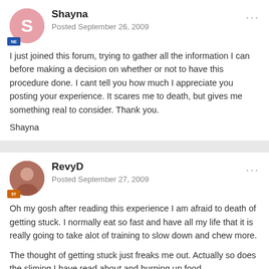Shayna
Posted September 26, 2009
I just joined this forum, trying to gather all the information I can before making a decision on whether or not to have this procedure done. I cant tell you how much I appreciate you posting your experience. It scares me to death, but gives me something real to consider. Thank you.
Shayna
RevyD
Posted September 27, 2009
Oh my gosh after reading this experience I am afraid to death of getting stuck. I normally eat so fast and have all my life that it is really going to take alot of training to slow down and chew more.
The thought of getting stuck just freaks me out. Actually so does the sliming I have read about and burping up food.